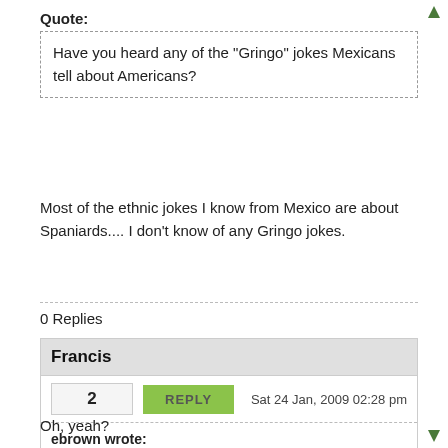Quote:
Have you heard any of the "Gringo" jokes Mexicans tell about Americans?
Most of the ethnic jokes I know from Mexico are about Spaniards.... I don't know of any Gringo jokes.
0 Replies
Francis
2
REPLY
Sat 24 Jan, 2009 02:28 pm
ebrown wrote:
I don't know of any Gringo jokes.
Oh, yeah?